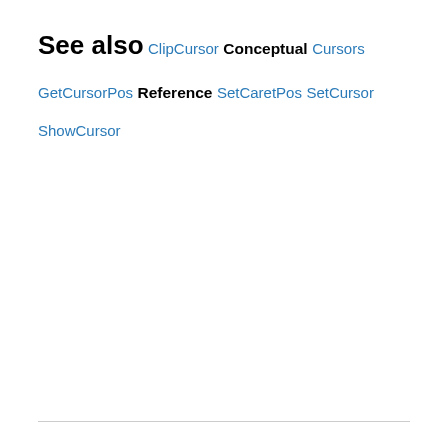See also
ClipCursor
Conceptual
Cursors
GetCursorPos
Reference
SetCaretPos
SetCursor
ShowCursor